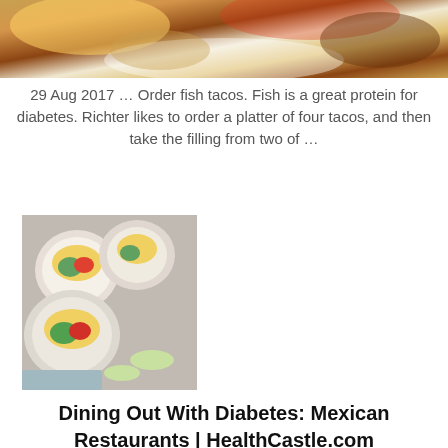[Figure (photo): Top portion of a food photo showing fish tacos with toppings including tomato salsa, cream, and vegetables on toasted tortillas]
29 Aug 2017 … Order fish tacos. Fish is a great protein for diabetes. Richter likes to order a platter of four tacos, and then take the filling from two of …
[Figure (photo): Overhead photo of several white bowls containing fish tacos with mango avocado salsa, with lime wedges on the side on a gray background]
Dining Out With Diabetes: Mexican Restaurants | HealthCastle.com
3 May 2009 … The Bottom Line … Mexican restaurants can definitely be a good option for people with diabetes. They offer low-calorie and